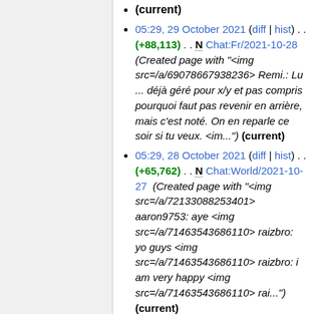(current)
05:29, 29 October 2021 (diff | hist) . . (+88,113) . . N Chat:Fr/2021-10-28 (Created page with "<img src=/a/69078667938236> Remi.: Lu ... déjà géré pour x/y et pas compris pourquoi faut pas revenir en arrière, mais c'est noté. On en reparle ce soir si tu veux. <im...") (current)
05:29, 28 October 2021 (diff | hist) . . (+65,762) . . N Chat:World/2021-10-27 (Created page with "<img src=/a/72133088253401> aaron9753: aye <img src=/a/71463543686110> raizbro: yo guys <img src=/a/71463543686110> raizbro: i am very happy <img src=/a/71463543686110> rai...") (current)
05:29, 28 October 2021 (diff | hist)